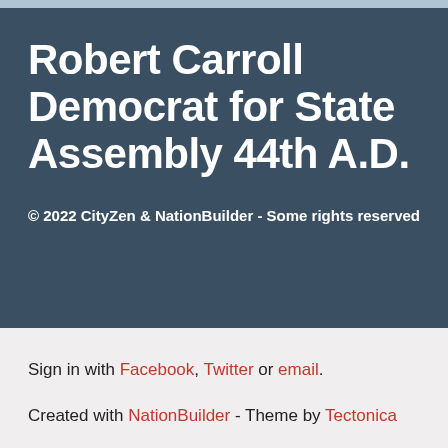Robert Carroll Democrat for State Assembly 44th A.D.
© 2022 CityZen & NationBuilder - Some rights reserved
Sign in with Facebook, Twitter or email.
Created with NationBuilder - Theme by Tectonica